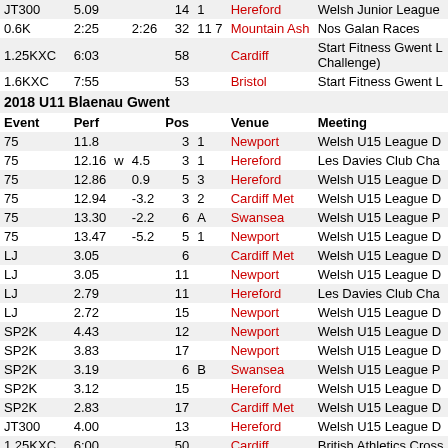| Event | Perf |  |  | Pos |  | Venue | Meeting |
| --- | --- | --- | --- | --- | --- | --- | --- |
| JT300 | 5.09 |  |  | 14 | 1 | Hereford | Welsh Junior League |
| 0.6K | 2:25 |  | 2:26 | 32 | 11 7 | Mountain Ash | Nos Galan Races |
| 1.25KXC | 6:03 |  |  | 58 |  | Cardiff | Start Fitness Gwent League (Challenge) |
| 1.6KXC | 7:55 |  |  | 53 |  | Bristol | Start Fitness Gwent L |
| 2018 U11 Blaenau Gwent |  |  |  |  |  |  |  |
| Event | Perf |  |  | Pos |  | Venue | Meeting |
| 75 | 11.8 |  |  | 3 | 1 | Newport | Welsh U15 League D |
| 75 | 12.16 | w | 4.5 | 3 | 1 | Hereford | Les Davies Club Cha |
| 75 | 12.86 |  | 0.9 | 5 | 3 | Hereford | Welsh U15 League D |
| 75 | 12.94 |  | -3.2 | 3 | 2 | Cardiff Met | Welsh U15 League D |
| 75 | 13.30 |  | -2.2 | 6 | A | Swansea | Welsh U15 League P |
| 75 | 13.47 |  | -5.2 | 5 | 1 | Newport | Welsh U15 League D |
| LJ | 3.05 |  |  | 6 |  | Cardiff Met | Welsh U15 League D |
| LJ | 3.05 |  |  | 11 |  | Newport | Welsh U15 League D |
| LJ | 2.79 |  |  | 11 |  | Hereford | Les Davies Club Cha |
| LJ | 2.72 |  |  | 15 |  | Newport | Welsh U15 League D |
| SP2K | 4.43 |  |  | 12 |  | Newport | Welsh U15 League D |
| SP2K | 3.83 |  |  | 17 |  | Newport | Welsh U15 League D |
| SP2K | 3.19 |  |  | 6 | B | Swansea | Welsh U15 League P |
| SP2K | 3.12 |  |  | 15 |  | Hereford | Welsh U15 League D |
| SP2K | 2.83 |  |  | 17 |  | Cardiff Met | Welsh U15 League D |
| JT300 | 4.00 |  |  | 13 |  | Hereford | Welsh U15 League D |
| 1.25KXC | 6:00 |  |  | 50 |  | Cardiff | British Athletics Cross |
| 1.54KNAD | 6:46 |  |  | 19 |  | Llanelli | Welsh Relay Champi |